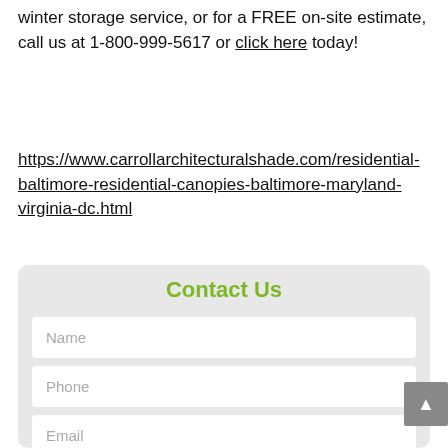winter storage service, or for a FREE on-site estimate, call us at 1-800-999-5617 or click here today!
https://www.carrollarchitecturalshade.com/residential-baltimore-residential-canopies-baltimore-maryland-virginia-dc.html
Contact Us
Name
Phone
Email